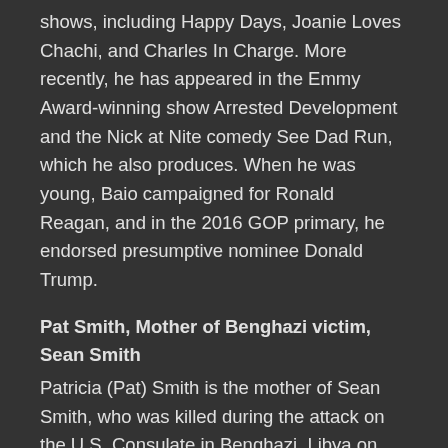shows, including Happy Days, Joanie Loves Chachi, and Charles In Charge. More recently, he has appeared in the Emmy Award-winning show Arrested Development and the Nick at Nite comedy See Dad Run, which he also produces. When he was young, Baio campaigned for Ronald Reagan, and in the 2016 GOP primary, he endorsed presumptive nominee Donald Trump.
Pat Smith, Mother of Benghazi victim, Sean Smith
Patricia (Pat) Smith is the mother of Sean Smith, who was killed during the attack on the U.S. Consulate in Benghazi, Libya on September 11, 2012. Ever since that night, Smith has sought to learn the truth behind the events that led to the